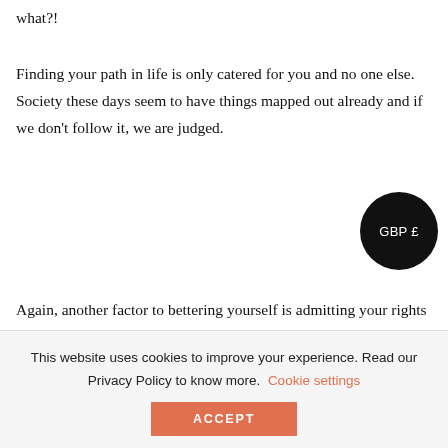what?!
Finding your path in life is only catered for you and no one else. Society these days seem to have things mapped out already and if we don't follow it, we are judged.
[Figure (other): GBP £ currency badge — black circle with white text reading 'GBP £']
Again, another factor to bettering yourself is admitting your rights and wrongs. Knowing what was done was done and to learn to move on from it. Certain life
This website uses cookies to improve your experience. Read our Privacy Policy to know more.  Cookie settings
ACCEPT